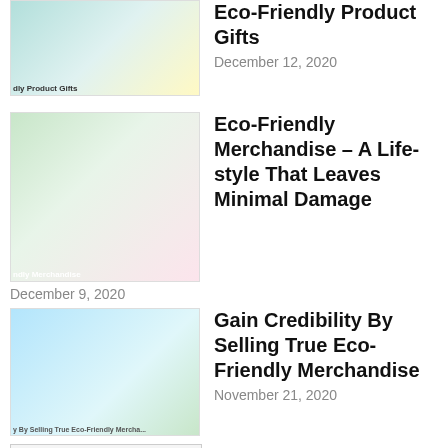[Figure (photo): Thumbnail image of eco-friendly product gifts]
Eco-Friendly Product Gifts
December 12, 2020
[Figure (photo): Thumbnail image of eco-friendly merchandise]
Eco-Friendly Merchandise – A Life-style That Leaves Minimal Damage
December 9, 2020
[Figure (photo): Thumbnail image - green leaves on blue background for eco-friendly selling article]
Gain Credibility By Selling True Eco-Friendly Merchandise
November 21, 2020
[Figure (photo): Thumbnail image for Basic Rules for an SEO Beginner article]
Basic Rules for an SEO Beginner
November 17, 2020